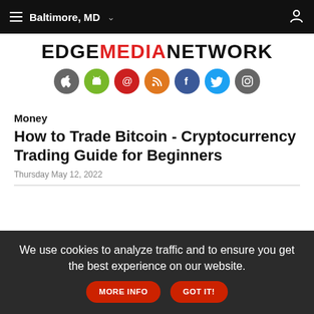Baltimore, MD
[Figure (logo): EDGEMEDIANETWORK logo with MEDIA in red and EDGE/NETWORK in black, followed by social media icon circles (Apple, Android, email, RSS, Facebook, Twitter, Instagram)]
Money
How to Trade Bitcoin - Cryptocurrency Trading Guide for Beginners
Thursday May 12, 2022
We use cookies to analyze traffic and to ensure you get the best experience on our website. MORE INFO  GOT IT!